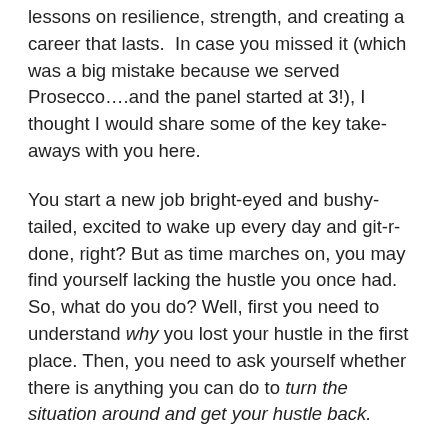lessons on resilience, strength, and creating a career that lasts.  In case you missed it (which was a big mistake because we served Prosecco….and the panel started at 3!), I thought I would share some of the key take-aways with you here.
You start a new job bright-eyed and bushy-tailed, excited to wake up every day and git-r-done, right? But as time marches on, you may find yourself lacking the hustle you once had. So, what do you do? Well, first you need to understand why you lost your hustle in the first place. Then, you need to ask yourself whether there is anything you can do to turn the situation around and get your hustle back.
Below are three of the six most common reasons people tell me they have lost their hustle, along with thoughts on whether changing things is within their